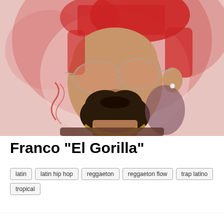[Figure (photo): Portrait photo of Franco 'El Gorilla' — a man with red-dyed fade haircut, large aviator glasses, full beard, diamond earring, neck tattoos, and gold chain necklace, photographed against a pinkish-red abstract background with decorative line art elements.]
Franco "El Gorilla"
latin
latin hip hop
reggaeton
reggaeton flow
trap latino
tropical